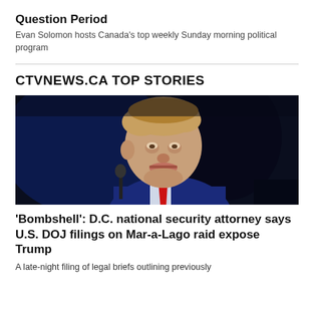Question Period
Evan Solomon hosts Canada’s top weekly Sunday morning political program
CTVNEWS.CA TOP STORIES
[Figure (photo): Portrait photo of Donald Trump in a dark setting, wearing a blue suit and red tie, looking downward near a microphone]
‘Bombshell’: D.C. national security attorney says U.S. DOJ filings on Mar-a-Lago raid expose Trump
A late-night filing of legal briefs outlining previously